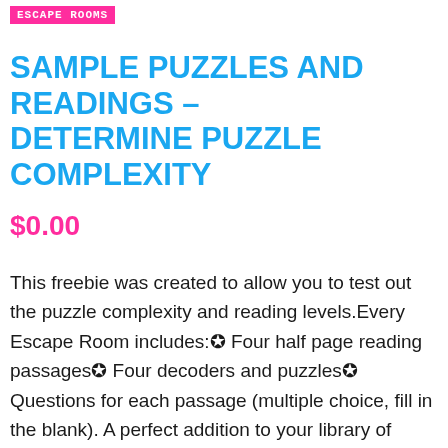ESCAPE ROOMS
SAMPLE PUZZLES AND READINGS - DETERMINE PUZZLE COMPLEXITY
$0.00
This freebie was created to allow you to test out the puzzle complexity and reading levels.Every Escape Room includes:✪ Four half page reading passages✪ Four decoders and puzzles✪ Questions for each passage (multiple choice, fill in the blank). A perfect addition to your library of resources!